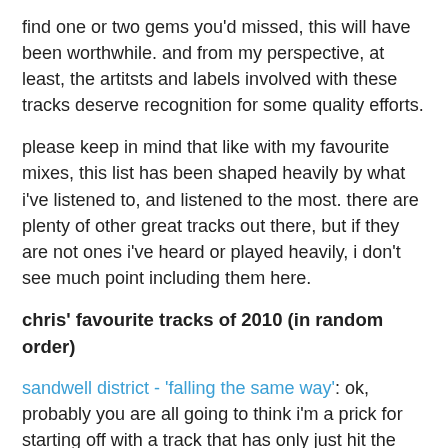find one or two gems you'd missed, this will have been worthwhile. and from my perspective, at least, the artitsts and labels involved with these tracks deserve recognition for some quality efforts.
please keep in mind that like with my favourite mixes, this list has been shaped heavily by what i've listened to, and listened to the most. there are plenty of other great tracks out there, but if they are not ones i've heard or played heavily, i don't see much point including them here.
chris' favourite tracks of 2010 (in random order)
sandwell district - 'falling the same way': ok, probably you are all going to think i'm a prick for starting off with a track that has only just hit the stores. whatever, it's my list, and this track is one i've been playing on repeat since i got it. function played it right at the beginning of his monumental set at labyrinth this year. when i listen to that, it brings back echoes and memories of that special event.
senking - 'V8': on an album full of highlights, this is the clear